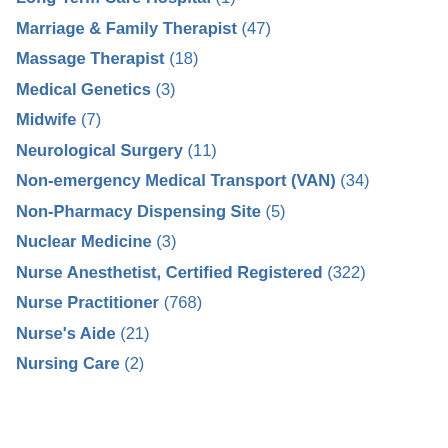Long Term Care Hospital (1)
Marriage & Family Therapist (47)
Massage Therapist (18)
Medical Genetics (3)
Midwife (7)
Neurological Surgery (11)
Non-emergency Medical Transport (VAN) (34)
Non-Pharmacy Dispensing Site (5)
Nuclear Medicine (3)
Nurse Anesthetist, Certified Registered (322)
Nurse Practitioner (768)
Nurse's Aide (21)
Nursing Care (2)